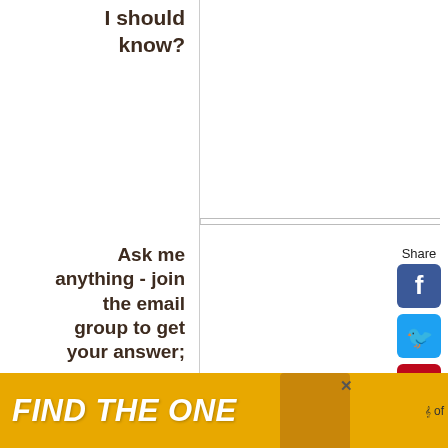I should know?
Ask me anything - join the email group to get your answer;
Join the email group Frill Free Zone tips and
GDPR*
I am at least 16 years of
I have read and accept the privacy policy.
I understand you will use my
[Figure (screenshot): Share sidebar with Facebook, Twitter, Pinterest, Tumblr, heart/save, and share buttons]
[Figure (illustration): Find The One banner ad with dog image at bottom of page]